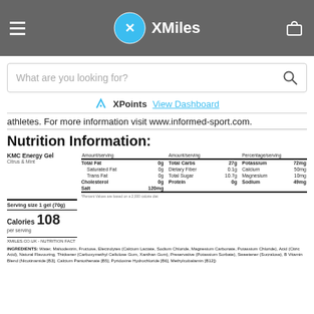XMiles
What are you looking for?
XPoints View Dashboard
athletes. For more information visit www.informed-sport.com.
Nutrition Information:
|  | Amount/serving |  | Amount/serving |  | Percentage/serving |  |
| --- | --- | --- | --- | --- | --- | --- |
| Total Fat | 0g | Total Carbs | 27g | Potassium | 72mg |
| Saturated Fat | 0g | Dietary Fiber | 0.1g | Calcium | 50mg |
| Trans Fat | 0g | Total Sugar | 10.7g | Magnesium | 10mg |
| Cholesterol | 0g | Protein | 0g | Sodium | 49mg |
| Salt | 120mg |  |  |  |  |
INGREDIENTS: Water, Maltodextrin, Fructose, Electrolytes (Calcium Lactate, Sodium Chloride, Magnesium Carbonate, Potassium Chloride), Acid (Citric Acid), Natural Flavouring, Thickener (Carboxymethyl Cellulose Gum, Xanthan Gum), Preservative (Potassium Sorbate), Sweetener (Sucralose), B Vitamin Blend (Nicotinamide [B3], Calcium Pantothenate [B5], Pyridoxine Hydrochloride [B6], Methylcobalamin [B12])